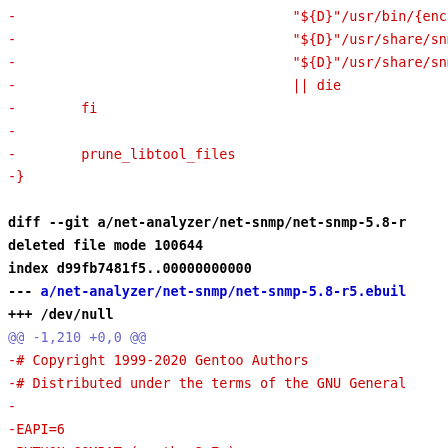Diff/patch code block showing removed lines and git diff header for net-snmp-5.8-r5.ebuild deletion